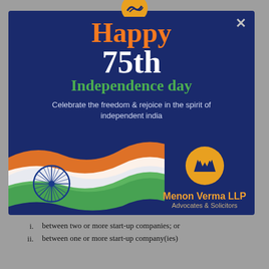[Figure (illustration): Popup modal card on a gray background. Dark navy blue background with 'Happy 75th Independence day' text in orange, white, and green. Indian tricolor flag with Ashoka Chakra waves across the lower portion. Menon Verma LLP logo and name appear at bottom right. A gray X close button is in the top right corner. A partial logo appears at the very top center of the page above the card.]
i.      between two or more start-up companies; or
ii.      between one or more start-up company(ies)